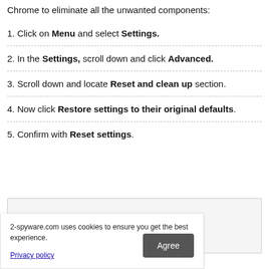Chrome to eliminate all the unwanted components:
1. Click on Menu and select Settings.
2. In the Settings, scroll down and click Advanced.
3. Scroll down and locate Reset and clean up section.
4. Now click Restore settings to their original defaults.
5. Confirm with Reset settings.
[Figure (screenshot): Screenshot placeholder box]
2-spyware.com uses cookies to ensure you get the best experience.
Privacy policy  [Agree button]